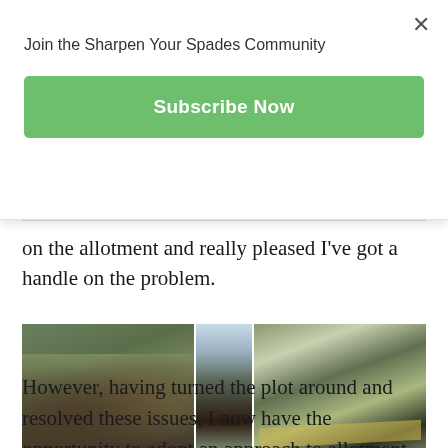Join the Sharpen Your Spades Community
Subscribe Now
on the allotment and really pleased I've got a handle on the problem.
[Figure (photo): Three photos of allotment garden beds: left shows a long trench with soil mounded beside wooden boards, middle shows a narrow deep trench viewed from above, right shows multiple rectangular raised beds with dark soil and yellow wooden edging.]
However, having turned the plot around and resolved these issues, I now have the opportunity to adopt an approach to allotment gardening that makes it as enjoyable as I know it can be.